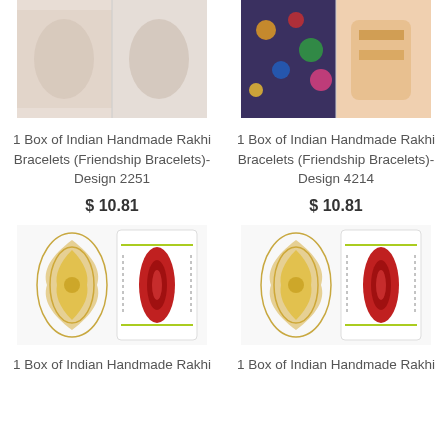[Figure (photo): Product image of Indian Handmade Rakhi Bracelets Design 2251 - two photos side by side showing bracelets]
1 Box of Indian Handmade Rakhi Bracelets (Friendship Bracelets)-Design 2251
$ 10.81
[Figure (photo): Product image of Indian Handmade Rakhi Bracelets Design 4214 - colorful photo and wrist photo]
1 Box of Indian Handmade Rakhi Bracelets (Friendship Bracelets)-Design 4214
$ 10.81
[Figure (photo): Product image of Indian Handmade Rakhi Bracelets - gold ornamental design and red bracelet on card]
1 Box of Indian Handmade Rakhi Bracelets (Friendship Bracelets)
[Figure (photo): Product image of Indian Handmade Rakhi Bracelets - gold ornamental design and red bracelet on card, variant]
1 Box of Indian Handmade Rakhi Bracelets (Friendship Bracelets)